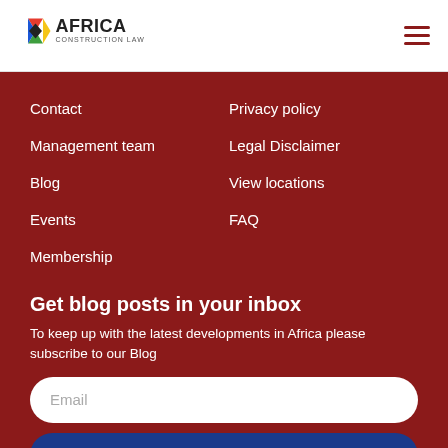Africa Construction Law
Contact
Privacy policy
Management team
Legal Disclaimer
Blog
View locations
Events
FAQ
Membership
Get blog posts in your inbox
To keep up with the latest developments in Africa please subscribe to our Blog
Email
SUBMIT